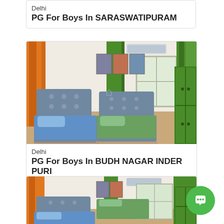Delhi
PG For Boys In SARASWATIPURAM
[Figure (photo): Interior photo of a PG room with orange and green curtains, two single beds with blue/green bedding, grey upholstered headboards, and a green wardrobe]
Delhi
PG For Boys In BUDH NAGAR INDER PURI
[Figure (photo): Partial interior photo of another PG room similar to above with orange and green curtains, beds, and green wardrobe]